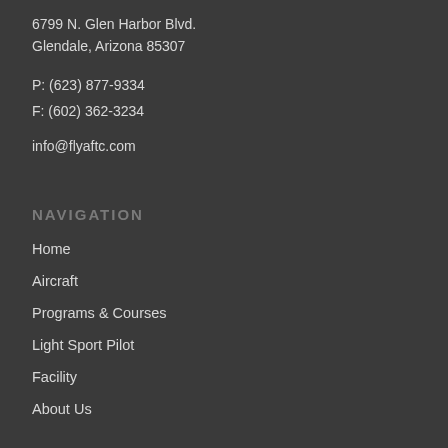6799 N. Glen Harbor Blvd.
Glendale, Arizona 85307
P: (623) 877-9334
F: (602) 362-3234
info@flyaftc.com
NAVIGATION
Home
Aircraft
Programs & Courses
Light Sport Pilot
Facility
About Us